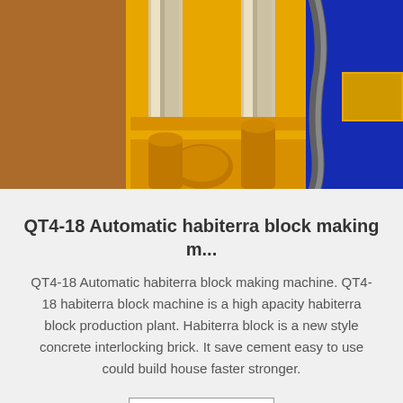[Figure (photo): Close-up photo of a QT4-18 automatic block making machine with yellow metal frame, chrome hydraulic cylinders, and blue mechanical components with gray hose/cable visible on the right side.]
QT4-18 Automatic habiterra block making m...
QT4-18 Automatic habiterra block making machine. QT4-18 habiterra block machine is a high apacity habiterra block production plant. Habiterra block is a new style concrete interlocking brick. It save cement easy to use could build house faster stronger.
Get Price